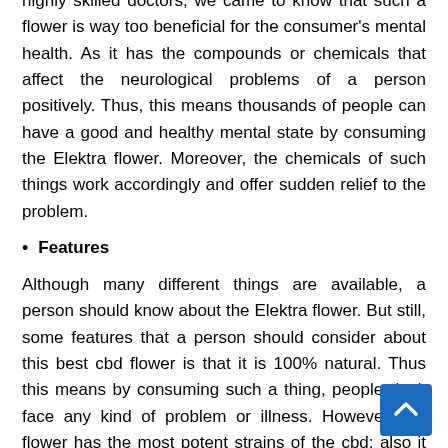highly skilled doctors, we came to know that such a flower is way too beneficial for the consumer's mental health. As it has the compounds or chemicals that affect the neurological problems of a person positively. Thus, this means thousands of people can have a good and healthy mental state by consuming the Elektra flower. Moreover, the chemicals of such things work accordingly and offer sudden relief to the problem.
Features
Although many different things are available, a person should know about the Elektra flower. But still, some features that a person should consider about this best cbd flower is that it is 100% natural. Thus this means by consuming such a thing, people don't face any kind of problem or illness. However, the flower has the most potent strains of the cbd; also it includes the citrus notes. Due to this many features and good chemicals, a person, or we can say consumers of such a product, may have amazing health. There is no doubt that such a flower also helps people in curing their major